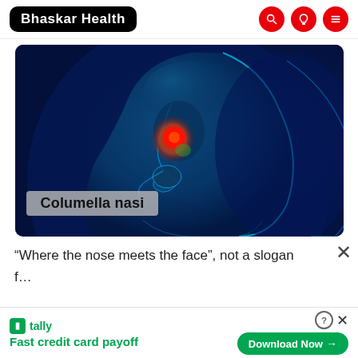Bhaskar Health
[Figure (illustration): Medical illustration of a human head profile in blue tones showing nasal anatomy with a red glowing highlight on the columella nasi area. Dark navy blue background with the face silhouette in lighter cyan/blue. Text overlay reads 'Columella nasi'.]
Columella nasi
“Where the nose meets the face”, not a slogan
f...
Fast credit card payoff